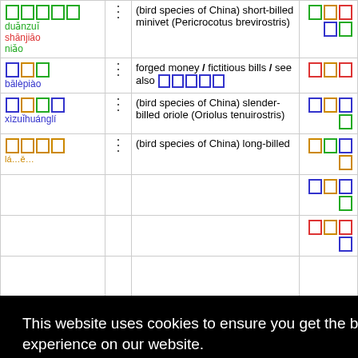| Chinese/Pinyin | Dots | Definition | Characters |
| --- | --- | --- | --- |
| □□□□□ duǎnzuǐ shānjiāo niǎo | ⋮ | (bird species of China) short-billed minivet (Pericrocotus brevirostris) | □□□□□ |
| □□□ bālèpiào | ⋮ | forged money / fictitious bills / see also □□□□□ | □□□ |
| □□□□ xìzuǐhuánglí | ⋮ | (bird species of China) slender-billed oriole (Oriolus tenuirostris) | □□□□ |
| □□□□ ... | ⋮ | (bird species of China) long-billed ... | □□□□ |
| ... | ⋮ | ... | □□□ |
| ... | ⋮ | ... | □□□□ |
| □□ kāidān | ⋮ | to bill / to open a tab | □□ |
This website uses cookies to ensure you get the best experience on our website. Learn more Got it!